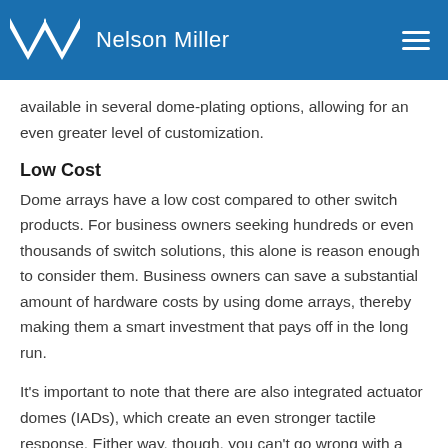Nelson Miller
available in several dome-plating options, allowing for an even greater level of customization.
Low Cost
Dome arrays have a low cost compared to other switch products. For business owners seeking hundreds or even thousands of switch solutions, this alone is reason enough to consider them. Business owners can save a substantial amount of hardware costs by using dome arrays, thereby making them a smart investment that pays off in the long run.
It's important to note that there are also integrated actuator domes (IADs), which create an even stronger tactile response. Either way, though, you can't go wrong with a dome array or